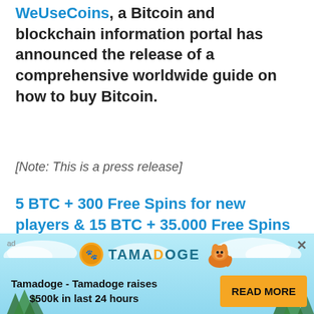WeUseCoins, a Bitcoin and blockchain information portal has announced the release of a comprehensive worldwide guide on how to buy Bitcoin.
[Note: This is a press release]
5 BTC + 300 Free Spins for new players & 15 BTC + 35.000 Free Spins every month, only at mBitcasino. Play Now!
[Figure (other): Cross Staking banner ad showing logo, a line chart graphic, and text NEW CRYPTO TECHNOLOGY: CROSS STAKING on dark background]
[Figure (other): Tamadoge advertisement banner with light blue background, Tamadoge logo with coin and dog graphic, text Tamadoge - Tamadoge raises $500k in last 24 hours, and READ MORE button]